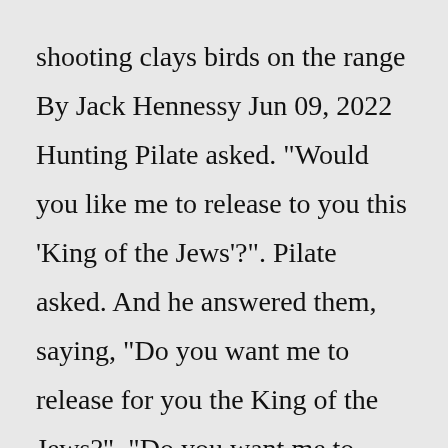shooting clays birds on the range By Jack Hennessy Jun 09, 2022 Hunting Pilate asked. "Would you like me to release to you this 'King of the Jews'?". Pilate asked. And he answered them, saying, "Do you want me to release for you the King of the Jews?". "Do you want me to release to you the King of the Jews?". Pilate asked. But Pilate answered them, saying, "Do you wish that I should release to you ..."What do you want me to do for you?" Jesus asked. "My